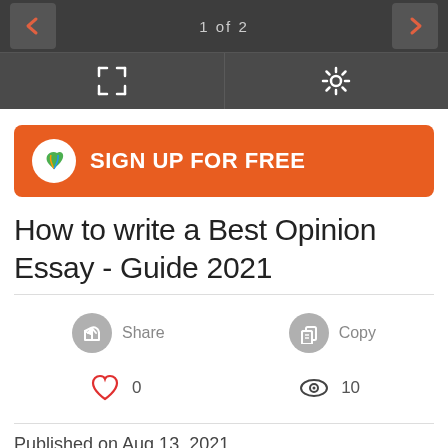1 of 2
[Figure (screenshot): Navigation toolbar with expand and settings icons on dark background]
[Figure (logo): Orange 'SIGN UP FOR FREE' banner with white circular bird logo]
How to write a Best Opinion Essay - Guide 2021
Share   Copy
0   10
Published on Aug 13, 2021